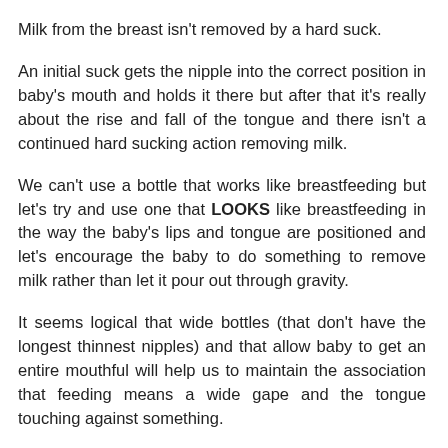Milk from the breast isn't removed by a hard suck.
An initial suck gets the nipple into the correct position in baby's mouth and holds it there but after that it's really about the rise and fall of the tongue and there isn't a continued hard sucking action removing milk.
We can't use a bottle that works like breastfeeding but let's try and use one that LOOKS like breastfeeding in the way the baby's lips and tongue are positioned and let's encourage the baby to do something to remove milk rather than let it pour out through gravity.
It seems logical that wide bottles (that don't have the longest thinnest nipples) and that allow baby to get an entire mouthful will help us to maintain the association that feeding means a wide gape and the tongue touching against something.
A let's allow baby to have as much control as possible